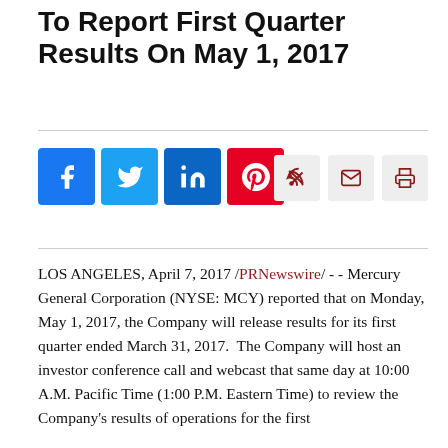To Report First Quarter Results On May 1, 2017
[Figure (other): Social media share buttons: Facebook, Twitter, LinkedIn, Pinterest; and utility icons: RSS feed, email, print]
LOS ANGELES, April 7, 2017 /PRNewswire/ - - Mercury General Corporation (NYSE: MCY) reported that on Monday, May 1, 2017, the Company will release results for its first quarter ended March 31, 2017. The Company will host an investor conference call and webcast that same day at 10:00 A.M. Pacific Time (1:00 P.M. Eastern Time) to review the Company's results of operations for the first